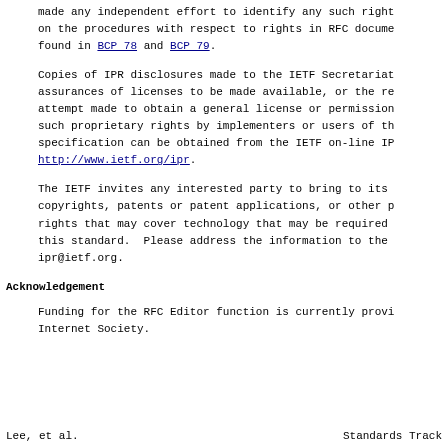made any independent effort to identify any such right on the procedures with respect to rights in RFC docume found in BCP 78 and BCP 79.
Copies of IPR disclosures made to the IETF Secretariat assurances of licenses to be made available, or the re attempt made to obtain a general license or permission such proprietary rights by implementers or users of th specification can be obtained from the IETF on-line IR http://www.ietf.org/ipr.
The IETF invites any interested party to bring to its copyrights, patents or patent applications, or other p rights that may cover technology that may be required this standard.  Please address the information to the ipr@ietf.org.
Acknowledgement
Funding for the RFC Editor function is currently provi Internet Society.
Lee, et al.                    Standards Track